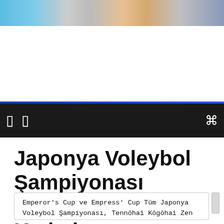[Figure (photo): Crowd/sports event photo banner at top of page]
Japonya Voleybol Şampiyonası Erkekler ve Kadınlar İmparatorluk Kupası
Emperor's Cup ve Empress' Cup Tüm Japonya Voleybol Şampiyonası, Tennōhai Kōgōhai Zen Nippon Voleybol Şanchuken Taikai) 2007